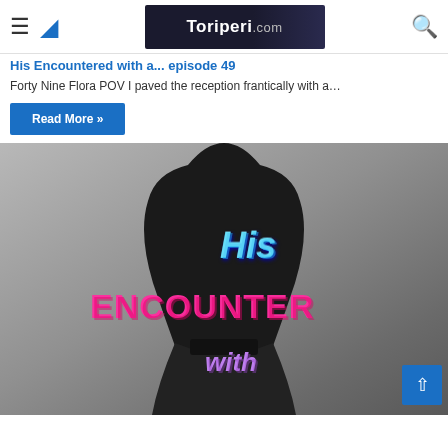His Encounter With... Episode 49 — Toriperi.com
His Encountered with a... episode 49
Forty Nine⁠ ⁠Flora POV⁠ I paved the reception frantically with a…
Read More »
[Figure (photo): Book cover image for 'His Encounter With...' showing a dark silhouetted figure (possibly a bride in black veil) with stylized text overlaid: 'His' in blue, 'ENCOUNTER' in pink, and 'with' in purple, against a grey background.]